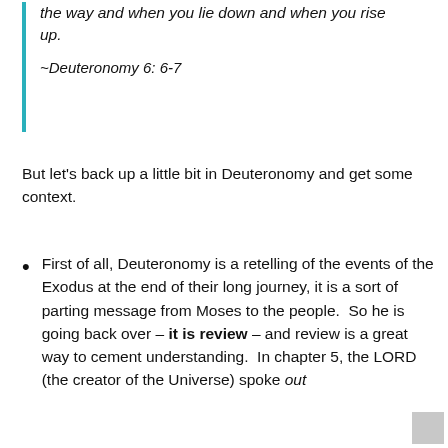the way and when you lie down and when you rise up.
~Deuteronomy 6: 6-7
But let's back up a little bit in Deuteronomy and get some context.
First of all, Deuteronomy is a retelling of the events of the Exodus at the end of their long journey, it is a sort of parting message from Moses to the people.  So he is going back over – it is review – and review is a great way to cement understanding.  In chapter 5, the LORD (the creator of the Universe) spoke out